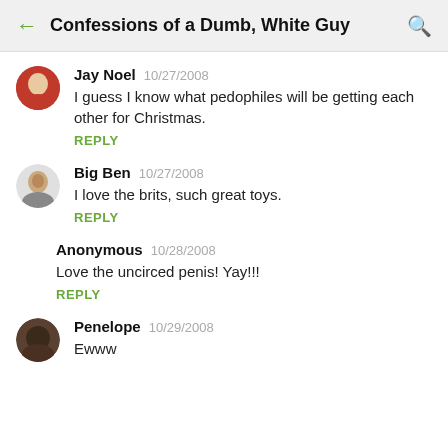Confessions of a Dumb, White Guy
Jay Noel  10/27/2008
I guess I know what pedophiles will be getting each other for Christmas.
REPLY
Big Ben  10/27/2008
I love the brits, such great toys.
REPLY
Anonymous  10/28/2008
Love the uncirced penis! Yay!!!
REPLY
Penelope  10/29/2008
Ewww